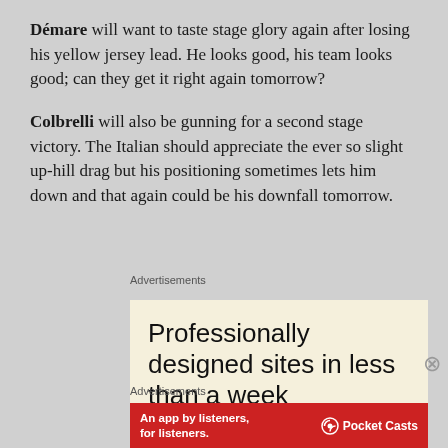Démare will want to taste stage glory again after losing his yellow jersey lead. He looks good, his team looks good; can they get it right again tomorrow?
Colbrelli will also be gunning for a second stage victory. The Italian should appreciate the ever so slight up-hill drag but his positioning sometimes lets him down and that again could be his downfall tomorrow.
Advertisements
[Figure (other): Advertisement: Professionally designed sites in less than a week]
Advertisements
[Figure (other): Advertisement: Pocket Casts - An app by listeners, for listeners.]